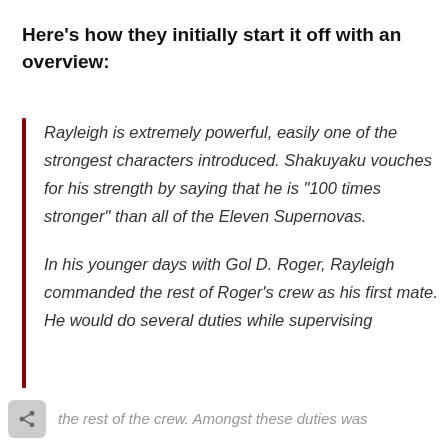Here’s how they initially start it off with an overview:
Rayleigh is extremely powerful, easily one of the strongest characters introduced. Shakuyaku vouches for his strength by saying that he is “100 times stronger” than all of the Eleven Supernovas.

In his younger days with Gol D. Roger, Rayleigh commanded the rest of Roger’s crew as his first mate. He would do several duties while supervising the rest of the crew. Amongst these duties was